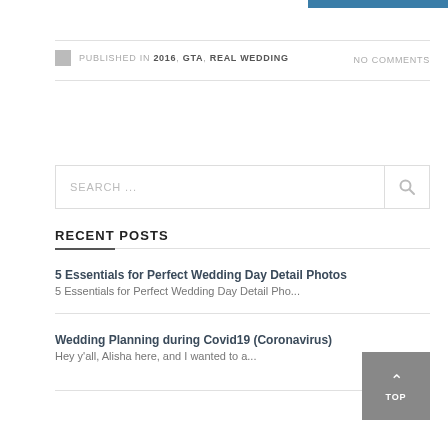PUBLISHED IN 2016, GTA, REAL WEDDING
NO COMMENTS
SEARCH ...
RECENT POSTS
5 Essentials for Perfect Wedding Day Detail Photos
5 Essentials for Perfect Wedding Day Detail Pho...
Wedding Planning during Covid19 (Coronavirus)
Hey y'all, Alisha here, and I wanted to a...